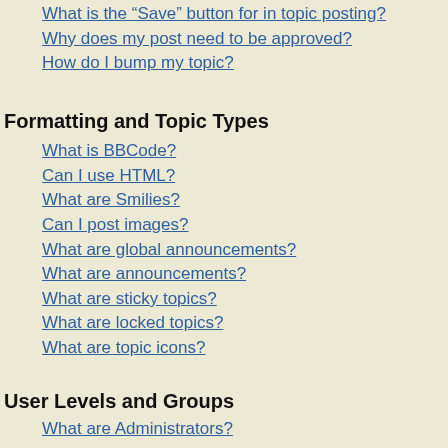What is the “Save” button for in topic posting?
Why does my post need to be approved?
How do I bump my topic?
Formatting and Topic Types
What is BBCode?
Can I use HTML?
What are Smilies?
Can I post images?
What are global announcements?
What are announcements?
What are sticky topics?
What are locked topics?
What are topic icons?
User Levels and Groups
What are Administrators?